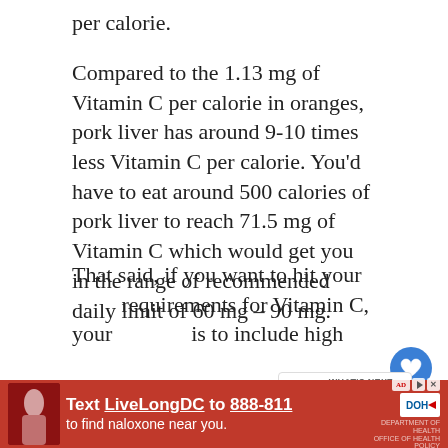per calorie.
Compared to the 1.13 mg of Vitamin C per calorie in oranges, pork liver has around 9-10 times less Vitamin C per calorie. You'd have to eat around 500 calories of pork liver to reach 71.5 mg of Vitamin C which would get you in the range of recommended daily limit of 60 mg – 90 mg.
That said, if you want to hit your daily requirements for Vitamin C, your best bet is to include high Vitamin C fruits and vegetables in your diet.
[Figure (infographic): Red advertisement banner at bottom: 'Text LiveLongDC to 888-811 to find naloxone near you.' with DOH logo and other icons.]